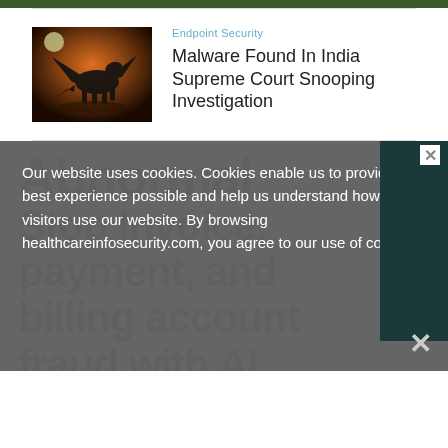[Figure (photo): Top cropped image strip showing green/nature scene]
[Figure (photo): Dark fantasy illustration of a winged black horse (Pegasus) against an orange night sky with moon]
Endpoint Security
Malware Found In India Supreme Court Snooping Investigation
Our website uses cookies. Cookies enable us to provide the best experience possible and help us understand how visitors use our website. By browsing healthcareinfosecurity.com, you agree to our use of cookies.